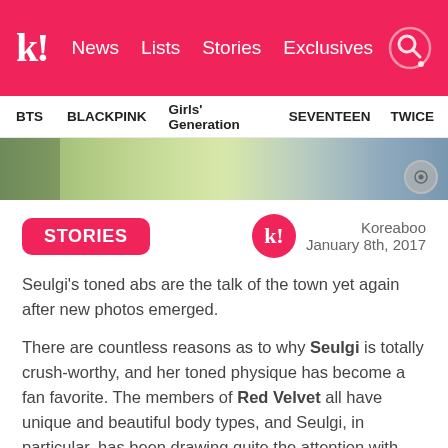k! News Lists Stories Exclusives
BTS BLACKPINK Girls' Generation SEVENTEEN TWICE
[Figure (photo): Partial photo strip showing outdoor scene with greenery and colorful clothing, with a circular watermark icon in the bottom right corner]
STORIES
Koreaboo
January 8th, 2017
Seulgi's toned abs are the talk of the town yet again after new photos emerged.
There are countless reasons as to why Seulgi is totally crush-worthy, and her toned physique has become a fan favorite. The members of Red Velvet all have unique and beautiful body types, and Seulgi, in particular, has been drawing quite the attention with her toned and well-developed